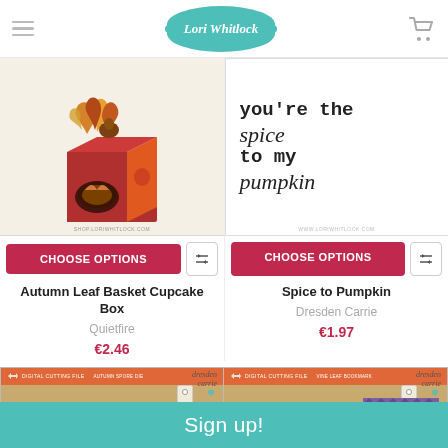Lori Whitlock
[Figure (photo): Autumn Leaf Basket Cupcake Box product image - a 3D paper craft box with autumn leaf decorations]
CHOOSE OPTIONS
Autumn Leaf Basket Cupcake Box
Quietfire
€2.46
[Figure (photo): Spice to Pumpkin card showing handwritten text: you're the spice to my pumpkin]
CHOOSE OPTIONS
Spice to Pumpkin
Dresden Carrie
€1.97
[Figure (photo): Dresden Carrie digital cutting file product card with tan background - Autumn Spore Die]
[Figure (photo): Dresden Carrie digital cutting file product card with tan background showing purple geometric pattern - Vine Leaf Bookmark]
Sign up!